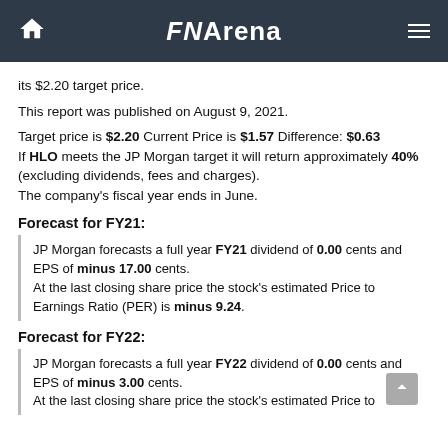FNArena
its $2.20 target price.
This report was published on August 9, 2021.
Target price is $2.20 Current Price is $1.57 Difference: $0.63
If HLO meets the JP Morgan target it will return approximately 40% (excluding dividends, fees and charges).
The company's fiscal year ends in June.
Forecast for FY21:
JP Morgan forecasts a full year FY21 dividend of 0.00 cents and EPS of minus 17.00 cents.
At the last closing share price the stock's estimated Price to Earnings Ratio (PER) is minus 9.24.
Forecast for FY22:
JP Morgan forecasts a full year FY22 dividend of 0.00 cents and EPS of minus 3.00 cents.
At the last closing share price the stock's estimated Price to